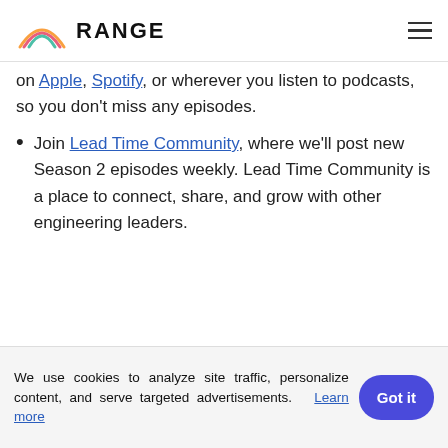RANGE (logo navigation bar with hamburger menu)
on Apple, Spotify, or wherever you listen to podcasts, so you don't miss any episodes.
Join Lead Time Community, where we'll post new Season 2 episodes weekly. Lead Time Community is a place to connect, share, and grow with other engineering leaders.
About Lead Time
We use cookies to analyze site traffic, personalize content, and serve targeted advertisements. Learn more